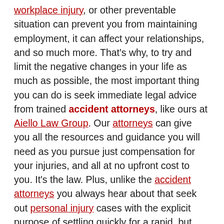workplace injury, or other preventable situation can prevent you from maintaining employment, it can affect your relationships, and so much more. That's why, to try and limit the negative changes in your life as much as possible, the most important thing you can do is seek immediate legal advice from trained accident attorneys, like ours at Aiello Law Group. Our attorneys can give you all the resources and guidance you will need as you pursue just compensation for your injuries, and all at no upfront cost to you. It's the law. Plus, unlike the accident attorneys you always hear about that seek out personal injury cases with the explicit purpose of settling quickly for a rapid, but reduced, payout, our accident attorneys have your best interests at heart. We will ight for absolutely every benefit and assistance we can because our accident attorneys care about bringing your family peace of mind during